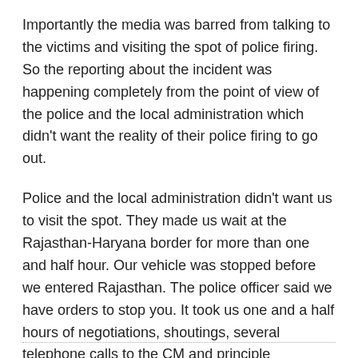Importantly the media was barred from talking to the victims and visiting the spot of police firing. So the reporting about the incident was happening completely from the point of view of the police and the local administration which didn't want the reality of their police firing to go out.
Police and the local administration didn't want us to visit the spot. They made us wait at the Rajasthan-Haryana border for more than one and half hour. Our vehicle was stopped before we entered Rajasthan. The police officer said we have orders to stop you. It took us one and a half hours of negotiations, shoutings, several telephone calls to the CM and principle secretary's office, and conversations with the collector before we were allowed to proceed. Meanwhile 7 jeeps full of policemen and a bus arrived to stop us from going any further.